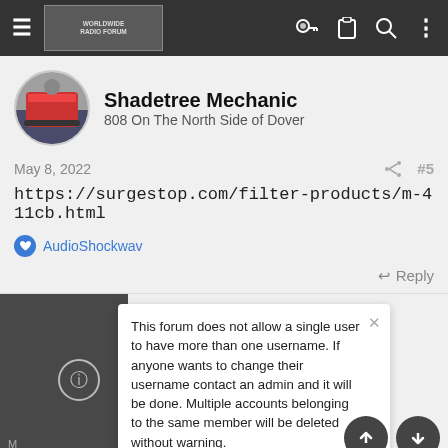Worldwide Radio Forum — navigation bar
Shadetree Mechanic
808 On The North Side of Dover
May 8, 2022  #5
https://surgestop.com/filter-products/m-411cb.html
AudioShockwav
Reply
This forum does not allow a single user to have more than one username. If anyone wants to change their username contact an admin and it will be done. Multiple accounts belonging to the same member will be deleted without warning.